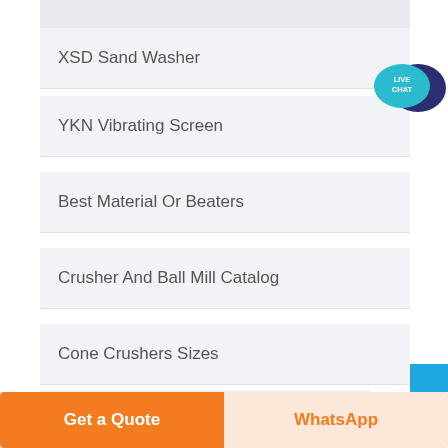XSD Sand Washer
YKN Vibrating Screen
Best Material Or Beaters
Crusher And Ball Mill Catalog
Cone Crushers Sizes
Platinum Smelter Plants In Europe
[Figure (other): Live Chat speech bubble icon with teal foreground bubble and dark navy background bubble, text 'LIVE CHAT' in white]
Get a Quote
WhatsApp